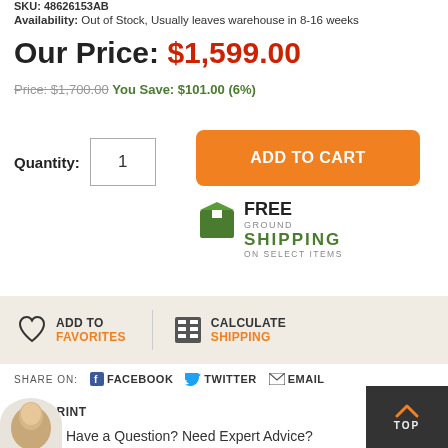SKU: 48626153AB
Availability: Out of Stock, Usually leaves warehouse in 8-16 weeks
Our Price: $1,599.00
Price: $1,700.00 You Save: $101.00 (6%)
Quantity: 1
ADD TO CART
[Figure (infographic): Free Ground Shipping on Select Items badge with green icon]
ADD TO FAVORITES
CALCULATE SHIPPING
SHARE ON: FACEBOOK TWITTER EMAIL
PRINT
TOP
Have a Question? Need Expert Advice?